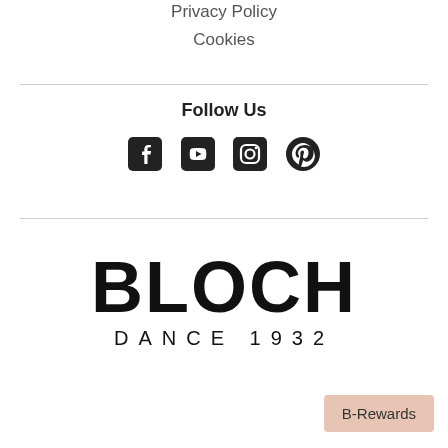Privacy Policy
Cookies
Follow Us
[Figure (illustration): Social media icons: Facebook, YouTube, Instagram, Pinterest]
[Figure (logo): BLOCH DANCE 1932 logo]
B-Rewards